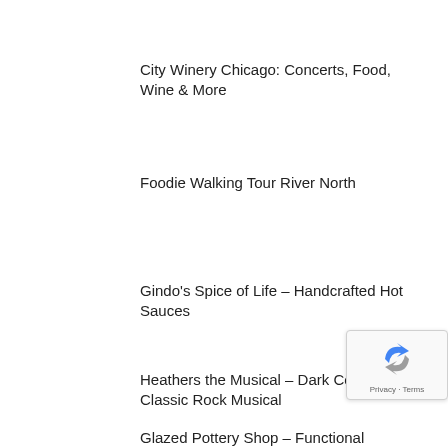City Winery Chicago: Concerts, Food, Wine & More
Foodie Walking Tour River North
Gindo's Spice of Life – Handcrafted Hot Sauces
Heathers the Musical – Dark Comedy, Cult Classic Rock Musical
Glazed Pottery Shop – Functional